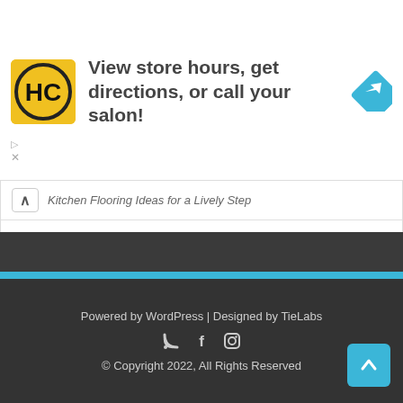[Figure (advertisement): HC salon logo with yellow background and text: View store hours, get directions, or call your salon!]
Kitchen Flooring Ideas for a Lively Step
Cool Minecraft Garden Ideas | Minecraft Farm
Cool Minecraft Underground Base Ideas
Minecraft Furniture Ideas, the Small Details to Your Designs
Cool Minecraft Redstone Ideas for Power and Energy
Powered by WordPress | Designed by TieLabs
© Copyright 2022, All Rights Reserved